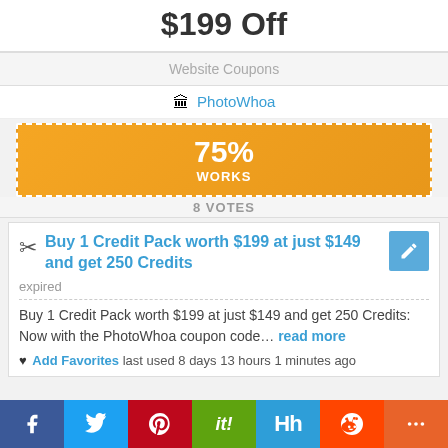$199 Off
Website Coupons
PhotoWhoa
[Figure (infographic): Orange dashed-border button showing 75% WORKS]
8 VOTES
Buy 1 Credit Pack worth $199 at just $149 and get 250 Credits
expired
Buy 1 Credit Pack worth $199 at just $149 and get 250 Credits:
Now with the PhotoWhoa coupon code… read more
♥ Add Favorites last used 8 days 13 hours 1 minutes ago
Facebook Twitter Pinterest it! Hh Reddit +